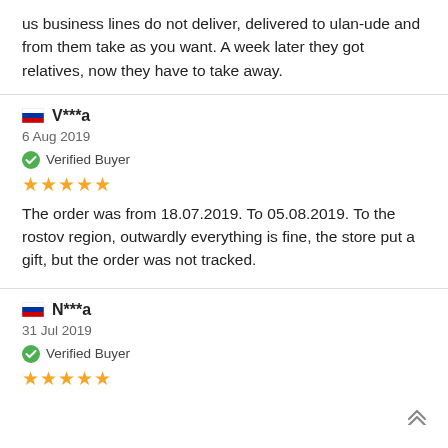us business lines do not deliver, delivered to ulan-ude and from them take as you want. A week later they got relatives, now they have to take away.
V***a
6 Aug 2019
Verified Buyer
★★★★★
The order was from 18.07.2019. To 05.08.2019. To the rostov region, outwardly everything is fine, the store put a gift, but the order was not tracked.
N***a
31 Jul 2019
Verified Buyer
★★★★★